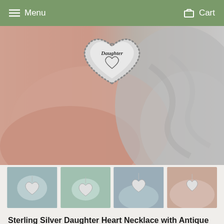Menu   Cart
[Figure (photo): Close-up photo of a hand holding a silver heart-shaped pendant engraved with 'Daughter' and a small heart outline below the text, with a beaded/dotted border around the heart pendant.]
[Figure (photo): Thumbnail 1: Heart necklace pendant on a light blue/grey fabric background]
[Figure (photo): Thumbnail 2: Heart necklace pendant shown close up on a teal/green fabric background]
[Figure (photo): Thumbnail 3: Heart necklace worn on a person's neck with a grey/blue top]
[Figure (photo): Thumbnail 4: Close-up of a person's neck/collarbone area wearing the heart necklace, skin tone background]
Sterling Silver Daughter Heart Necklace with Antique Finish, Daughter Heart Necklace with Antique Finish, Daughter of the Bride Necklace